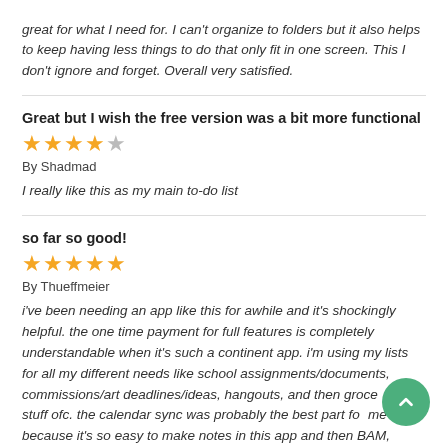great for what I need for. I can't organize to folders but it also helps to keep having less things to do that only fit in one screen. This I don't ignore and forget. Overall very satisfied.
Great but I wish the free version was a bit more functional
[Figure (other): 4 out of 5 stars rating]
By Shadmad
I really like this as my main to-do list
so far so good!
[Figure (other): 5 out of 5 stars rating]
By Thueffmeier
i've been needing an app like this for awhile and it's shockingly helpful. the one time payment for full features is completely understandable when it's such a continent app. i'm using my lists for all my different needs like school assignments/documents, commissions/art deadlines/ideas, hangouts, and then groceries and stuff ofc. the calendar sync was probably the best part for me because it's so easy to make notes in this app and then BAM, immediately they show up on my notes app side...